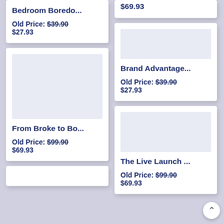$69.93
Bedroom Boredo...
Old Price: $39.90
$27.93
Brand Advantage...
Old Price: $39.90
$27.93
From Broke to Bo...
Old Price: $99.90
$69.93
The Live Launch ...
Old Price: $99.90
$69.93